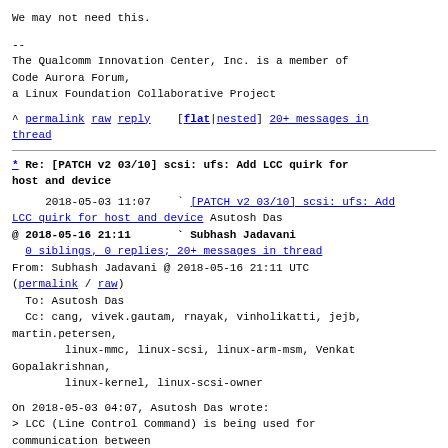We may not need this.
--
The Qualcomm Innovation Center, Inc. is a member of Code Aurora Forum,
a Linux Foundation Collaborative Project
^ permalink raw reply   [flat|nested] 20+ messages in thread
* Re: [PATCH v2 03/10] scsi: ufs: Add LCC quirk for host and device
2018-05-03 11:07   ` [PATCH v2 03/10] scsi: ufs: Add LCC quirk for host and device Asutosh Das
@ 2018-05-16 21:11     ` Subhash Jadavani
  0 siblings, 0 replies; 20+ messages in thread
From: Subhash Jadavani @ 2018-05-16 21:11 UTC (permalink / raw)
  To: Asutosh Das
  Cc: cang, vivek.gautam, rnayak, vinholikatti, jejb, martin.petersen,
        linux-mmc, linux-scsi, linux-arm-msm, Venkat Gopalakrishnan,
        linux-kernel, linux-scsi-owner
On 2018-05-03 04:07, Asutosh Das wrote:
> LCC (Line Control Command) is being used for communication between